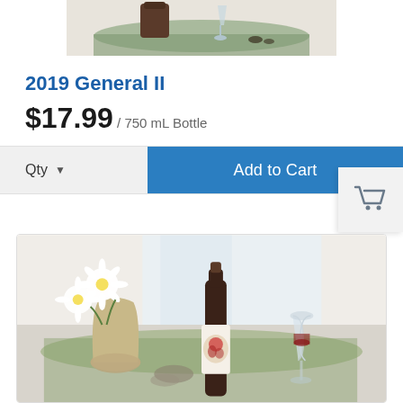[Figure (photo): Partial cropped view of a wine product lifestyle photo from above, showing a table setting with a jar, wine glass and decorative items on a light surface]
2019 General II
$17.99 / 750 mL Bottle
Qty  ▼    Add to Cart
[Figure (photo): Shopping cart icon in grey on light grey square background, floating in upper right area]
[Figure (photo): Lifestyle photo of a wine bottle with decorative label, a wine glass with red wine, and white daisy flowers in a metallic vase on a light table surface]